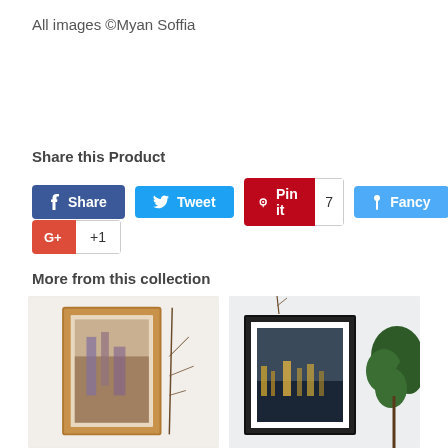All images ©Myan Soffia
Share this Product
[Figure (screenshot): Social sharing buttons: Share (Facebook), Tweet (Twitter), Pin it with count 7 (Pinterest), Fancy (Fancy), G+ +1 (Google Plus)]
More from this collection
[Figure (photo): Two product photos showing framed art prints. Left: a warm-toned city street photo in a wooden frame. Right: a framed cityscape/skyline photo in a black frame with a plant beside it.]